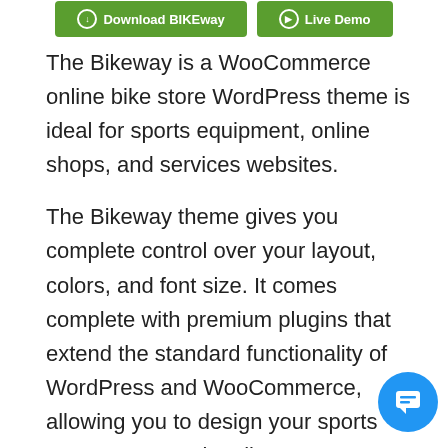[Figure (other): Two green buttons: 'Download BIKEway' and 'Live Demo' at top of page]
The Bikeway is a WooCommerce online bike store WordPress theme is ideal for sports equipment, online shops, and services websites.
The Bikeway theme gives you complete control over your layout, colors, and font size. It comes complete with premium plugins that extend the standard functionality of WordPress and WooCommerce, allowing you to design your sports store unconventionally.
Despite its WooCommerce-friendly nature, you can integrate WooCommerce with your website